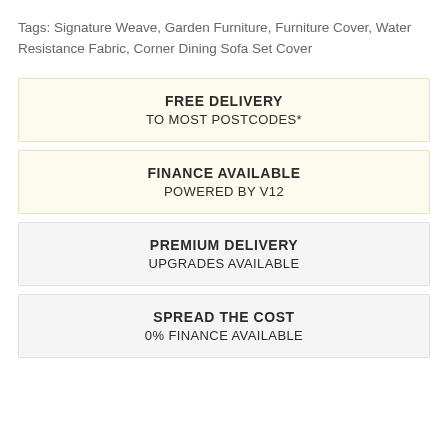Tags: Signature Weave, Garden Furniture, Furniture Cover, Water Resistance Fabric, Corner Dining Sofa Set Cover
FREE DELIVERY
TO MOST POSTCODES*
FINANCE AVAILABLE
POWERED BY V12
PREMIUM DELIVERY
UPGRADES AVAILABLE
SPREAD THE COST
0% FINANCE AVAILABLE